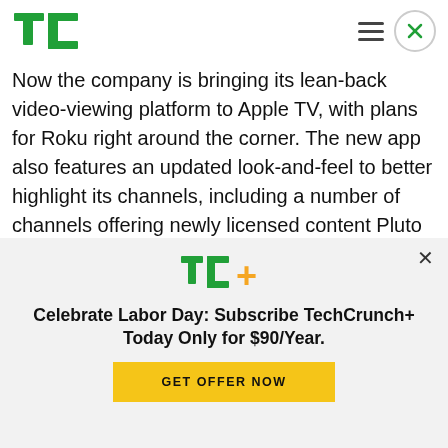TechCrunch logo header with hamburger menu and close button
Now the company is bringing its lean-back video-viewing platform to Apple TV, with plans for Roku right around the corner. The new app also features an updated look-and-feel to better highlight its channels, including a number of channels offering newly licensed content Pluto TV has been adding to its service over the past few months.
[Figure (logo): TechCrunch+ logo (TC+ in green and orange)]
Celebrate Labor Day: Subscribe TechCrunch+ Today Only for $90/Year.
GET OFFER NOW